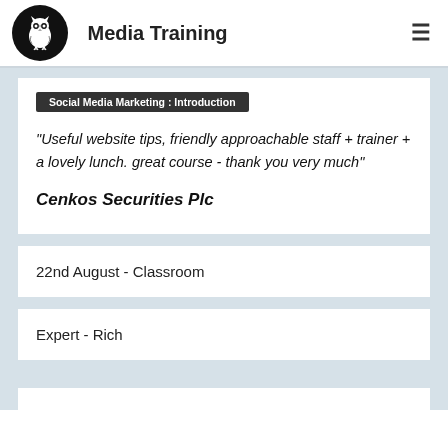Media Training
Social Media Marketing : Introduction
"Useful website tips, friendly approachable staff + trainer + a lovely lunch. great course - thank you very much"
Cenkos Securities Plc
22nd August - Classroom
Expert - Rich